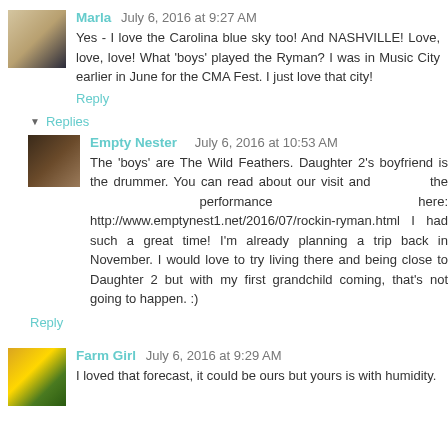Marla  July 6, 2016 at 9:27 AM
Yes - I love the Carolina blue sky too! And NASHVILLE! Love, love, love! What 'boys' played the Ryman? I was in Music City earlier in June for the CMA Fest. I just love that city!
Reply
Replies
Empty Nester   July 6, 2016 at 10:53 AM
The 'boys' are The Wild Feathers. Daughter 2's boyfriend is the drummer. You can read about our visit and the performance here: http://www.emptynest1.net/2016/07/rockin-ryman.html I had such a great time! I'm already planning a trip back in November. I would love to try living there and being close to Daughter 2 but with my first grandchild coming, that's not going to happen. :)
Reply
Farm Girl  July 6, 2016 at 9:29 AM
I loved that forecast, it could be ours but yours is with humidity.